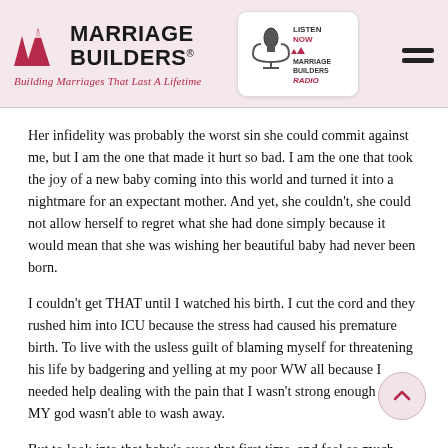Marriage Builders® - Building Marriages That Last A Lifetime | Listen Now Marriage Builders Radio
Her infidelity was probably the worst sin she could commit against me, but I am the one that made it hurt so bad. I am the one that took the joy of a new baby coming into this world and turned it into a nightmare for an expectant mother. And yet, she couldn't, she could not allow herself to regret what she had done simply because it would mean that she was wishing her beautiful baby had never been born.
I couldn't get THAT until I watched his birth. I cut the cord and they rushed him into ICU because the stress had caused his premature birth. To live with the usless guilt of blaming myself for threatening his life by badgering and yelling at my poor WW all because I needed help dealing with the pain that I wasn't strong enough to, and MY god wasn't able to wash away.
But to look into that baby's eyes that first time, and feel so much